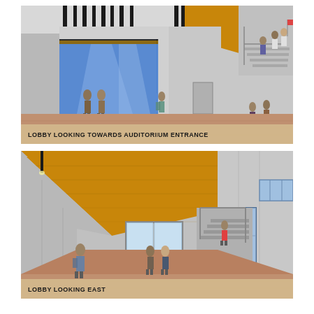[Figure (illustration): Architectural rendering of a building lobby looking towards the auditorium entrance. Shows a large interior space with high ceilings featuring pendant black light fixtures, a prominent blue digital display wall behind people figures, warm wood-toned ceiling panels, concrete walls, and a mezzanine level with stairs and people on the right side.]
LOBBY LOOKING TOWARDS AUDITORIUM ENTRANCE
[Figure (illustration): Architectural rendering of the same building lobby looking east. Shows a long corridor with warm amber/gold wood ceiling, light grey concrete walls, terrazzo/brick flooring, glass entry doors at the far end with daylight beyond, a staircase with railings on the right, blue-framed windows on the right wall, and several people figures scattered throughout the space.]
LOBBY LOOKING EAST